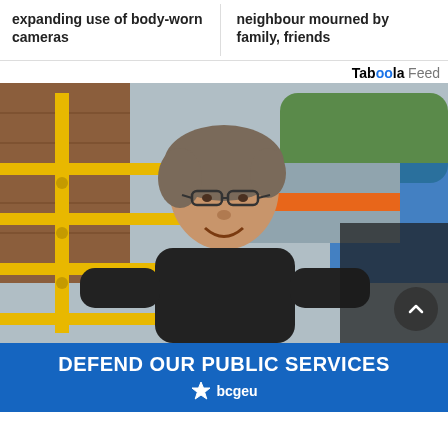expanding use of body-worn cameras
neighbour mourned by family, friends
Taboola Feed
[Figure (photo): A smiling middle-aged man with glasses and disheveled hair, wearing a black t-shirt, standing outdoors near a yellow scaffolding structure with a brick building and blue fence in the background.]
[Figure (infographic): Blue advertisement banner reading DEFEND OUR PUBLIC SERVICES with bcgeu logo]